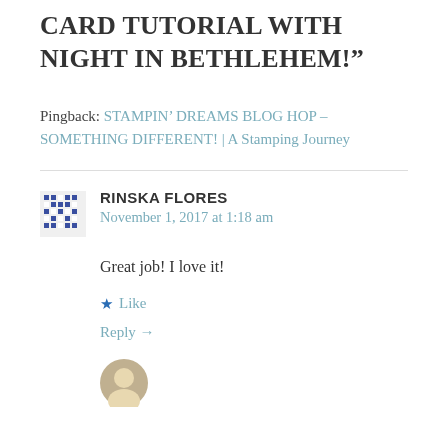CARD TUTORIAL WITH NIGHT IN BETHLEHEM!”
Pingback: STAMPIN’ DREAMS BLOG HOP – SOMETHING DIFFERENT! | A Stamping Journey
RINSKA FLORES
November 1, 2017 at 1:18 am
Great job! I love it!
★ Like
Reply →